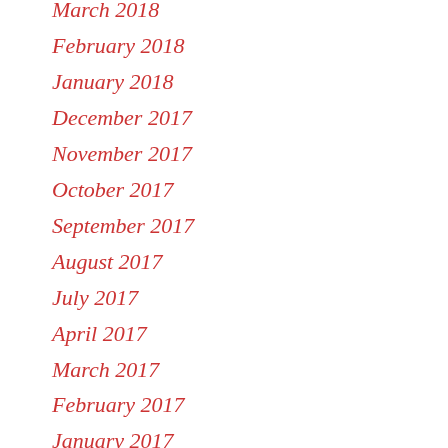March 2018
February 2018
January 2018
December 2017
November 2017
October 2017
September 2017
August 2017
July 2017
April 2017
March 2017
February 2017
January 2017
December 2016
November 2016
October 2016
September 2016
August 2016